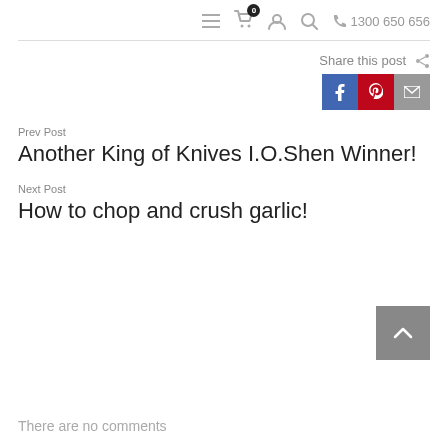☰ 🛒 0 👤 🔍 📞 1300 650 656
Share this post
Prev Post
Another King of Knives I.O.Shen Winner!
Next Post
How to chop and crush garlic!
There are no comments